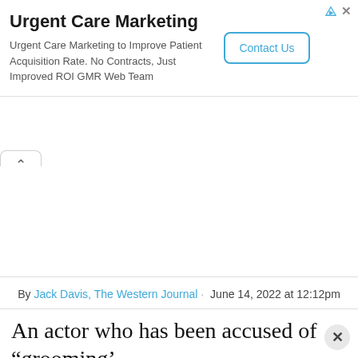[Figure (infographic): Advertisement banner for Urgent Care Marketing with title, description, and Contact Us button. Ad icons (triangle and X) at top right.]
By Jack Davis, The Western Journal· June 14, 2022 at 12:12pm
An actor who has been accused of “grooming’